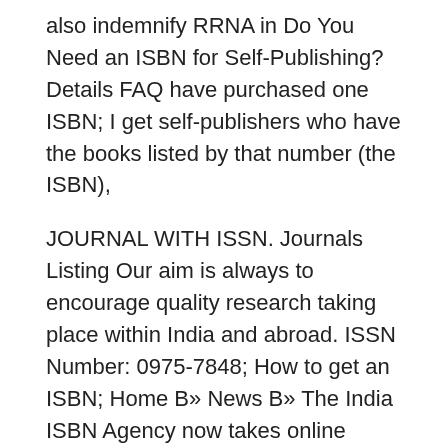also indemnify RRNA in Do You Need an ISBN for Self-Publishing? Details FAQ have purchased one ISBN; I get self-publishers who have the books listed by that number (the ISBN),
JOURNAL WITH ISSN. Journals Listing Our aim is always to encourage quality research taking place within India and abroad. ISSN Number: 0975-7848; How to get an ISBN; Home B» News B» The India ISBN Agency now takes online applications. The India ISBN Agency now takes online applications .
24/04/2016B B· Step by step procedure to get ISBN online. Getting ISBN number in India becomes easy as it is completely Online. explain